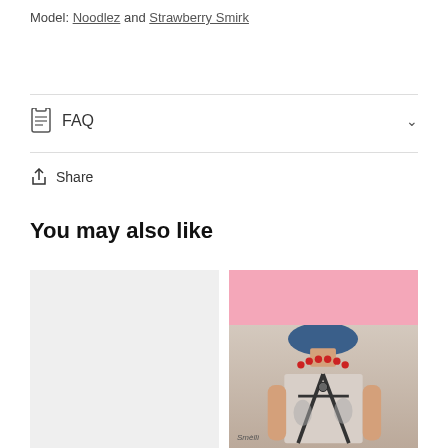Model: Noodlez and Strawberry Smirk
FAQ
Share
You may also like
[Figure (photo): Two product cards side by side: left card is a blank light grey placeholder; right card shows a model wearing a patterned harness top with a red beaded necklace against a pink background.]